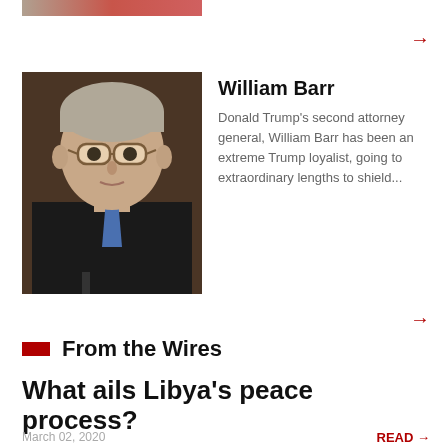[Figure (photo): Partial cropped image strip at top of page showing a person, partially visible]
[Figure (photo): Portrait photo of William Barr, a man in a dark suit and blue tie, wearing glasses, seated at what appears to be a hearing table]
William Barr
Donald Trump's second attorney general, William Barr has been an extreme Trump loyalist, going to extraordinary lengths to shield...
From the Wires
What ails Libya's peace process?
March 02, 2020
READ →